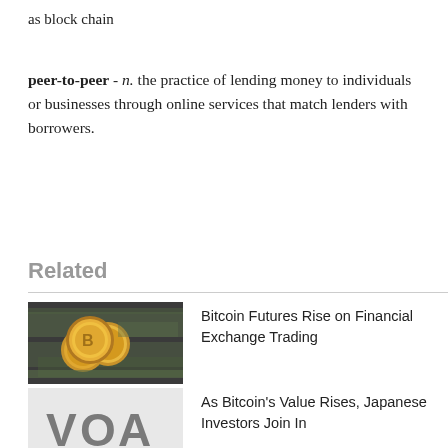as block chain
peer-to-peer - n. the practice of lending money to individuals or businesses through online services that match lenders with borrowers.
Related
[Figure (photo): Photo of gold Bitcoin coins on US dollar bills]
Bitcoin Futures Rise on Financial Exchange Trading
[Figure (logo): VOA logo on light gray background]
As Bitcoin's Value Rises, Japanese Investors Join In